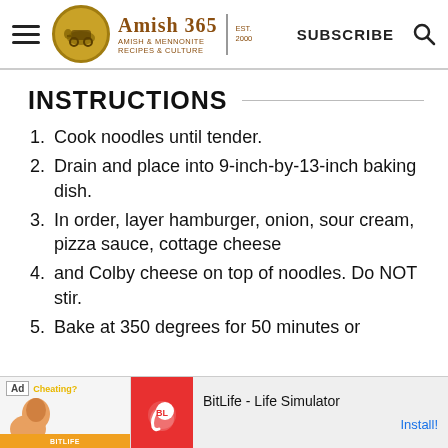Amish 365 — AMISH & MENNONITE RECIPES & CULTURE | EST. 2000 | SUBSCRIBE
INSTRUCTIONS
Cook noodles until tender.
Drain and place into 9-inch-by-13-inch baking dish.
In order, layer hamburger, onion, sour cream, pizza sauce, cottage cheese
and Colby cheese on top of noodles. Do NOT stir.
Bake at 350 degrees for 50 minutes or
[Figure (screenshot): Ad banner: BitLife - Life Simulator advertisement with 'Ad' label, muscle arm graphic, red BitLife logo block, and 'Install!' call to action]